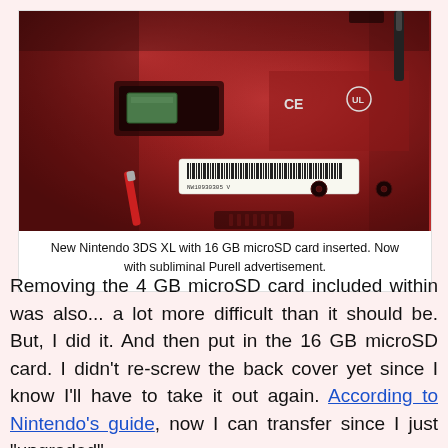[Figure (photo): Close-up photo of the back of a red New Nintendo 3DS XL showing the microSD card slot area, battery compartment, serial number label, and regulatory markings.]
New Nintendo 3DS XL with 16 GB microSD card inserted. Now with subliminal Purell advertisement.
Removing the 4 GB microSD card included within was also... a lot more difficult than it should be. But, I did it. And then put in the 16 GB microSD card. I didn't re-screw the back cover yet since I know I'll have to take it out again. According to Nintendo's guide, now I can transfer since I just "upgraded".